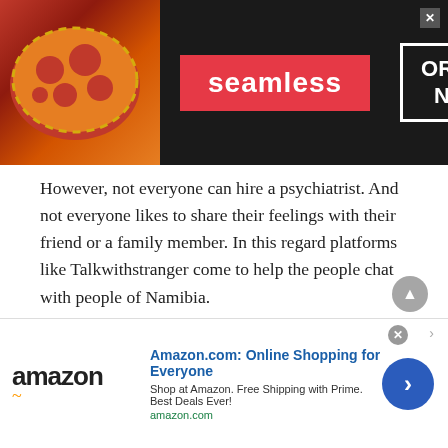[Figure (screenshot): Seamless food delivery advertisement banner with pizza image, red Seamless logo button, and ORDER NOW button on dark background]
However, not everyone can hire a psychiatrist. And not everyone likes to share their feelings with their friend or a family member. In this regard platforms like Talkwithstranger come to help the people chat with people of Namibia.
Chat with people of Namibia the way you want !
There also are several other reasons why you need to talk to a stranger. If you are talking with a person
[Figure (screenshot): Amazon.com advertisement banner with Amazon logo, title 'Amazon.com: Online Shopping for Everyone', subtitle 'Shop at Amazon. Free Shipping with Prime. Best Deals Ever!', amazon.com URL, and blue circle arrow button]